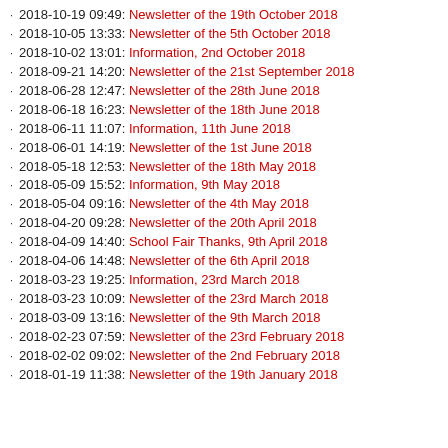2018-10-19 09:49: Newsletter of the 19th October 2018
2018-10-05 13:33: Newsletter of the 5th October 2018
2018-10-02 13:01: Information, 2nd October 2018
2018-09-21 14:20: Newsletter of the 21st September 2018
2018-06-28 12:47: Newsletter of the 28th June 2018
2018-06-18 16:23: Newsletter of the 18th June 2018
2018-06-11 11:07: Information, 11th June 2018
2018-06-01 14:19: Newsletter of the 1st June 2018
2018-05-18 12:53: Newsletter of the 18th May 2018
2018-05-09 15:52: Information, 9th May 2018
2018-05-04 09:16: Newsletter of the 4th May 2018
2018-04-20 09:28: Newsletter of the 20th April 2018
2018-04-09 14:40: School Fair Thanks, 9th April 2018
2018-04-06 14:48: Newsletter of the 6th April 2018
2018-03-23 19:25: Information, 23rd March 2018
2018-03-23 10:09: Newsletter of the 23rd March 2018
2018-03-09 13:16: Newsletter of the 9th March 2018
2018-02-23 07:59: Newsletter of the 23rd February 2018
2018-02-02 09:02: Newsletter of the 2nd February 2018
2018-01-19 11:38: Newsletter of the 19th January 2018